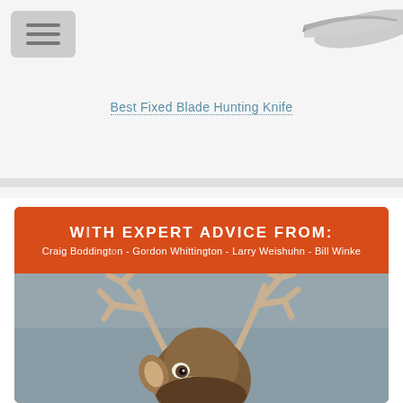[Figure (screenshot): Menu hamburger button (three horizontal lines) in a gray rounded rectangle, top left of page]
[Figure (photo): Partial image of a hunting knife blade, top right corner]
Best Fixed Blade Hunting Knife
[Figure (photo): Book cover showing orange banner at top reading 'WITH EXPERT ADVICE FROM: Craig Boddington - Gordon Whittington - Larry Weishuhn - Bill Winke' and a close-up photo of a large whitetail buck deer with prominent antlers below]